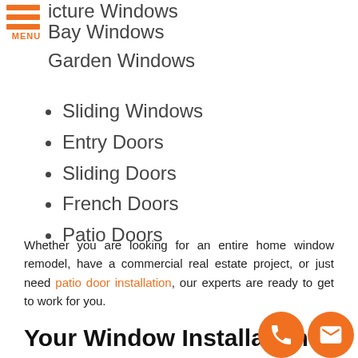Picture Windows
Bay Windows
Garden Windows
Sliding Windows
Entry Doors
Sliding Doors
French Doors
Patio Doors
Whether you are looking for an entire home window remodel, have a commercial real estate project, or just need patio door installation, our experts are ready to get to work for you.
Your Window Installation Experts